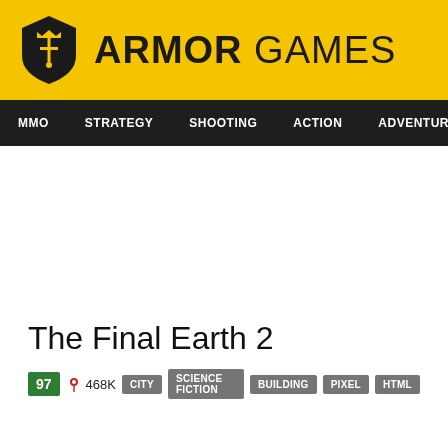ARMOR GAMES
MMO | STRATEGY | SHOOTING | ACTION | ADVENTURE | P
The Final Earth 2
97  468K  CITY  SCIENCE FICTION  BUILDING  PIXEL  HTML